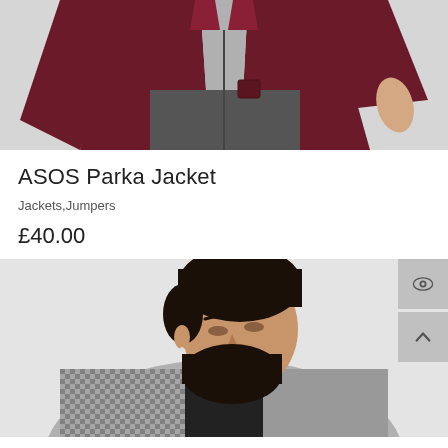[Figure (photo): Top portion of a male model wearing a dark burgundy/maroon parka jacket over a grey sweatshirt with dark grey trousers, cropped at mid-torso, light grey background]
ASOS Parka Jacket
Jackets,Jumpers
£40.00
[Figure (photo): Male model with dark hair and beard, looking downward, wearing a grey houndstooth/checked blazer over a black shirt, light grey background, partially cropped]